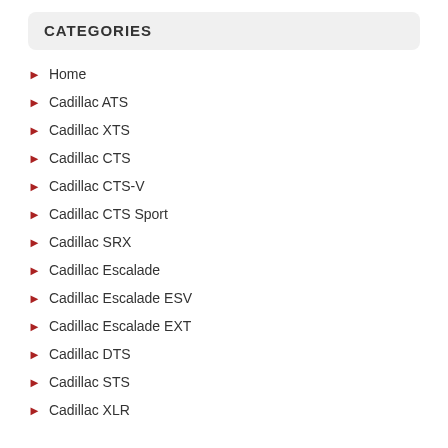CATEGORIES
Home
Cadillac ATS
Cadillac XTS
Cadillac CTS
Cadillac CTS-V
Cadillac CTS Sport
Cadillac SRX
Cadillac Escalade
Cadillac Escalade ESV
Cadillac Escalade EXT
Cadillac DTS
Cadillac STS
Cadillac XLR